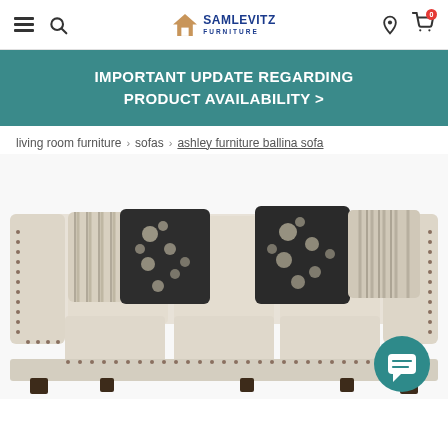Sam Levitz Furniture — navigation bar with hamburger menu, search, logo, location pin, and cart icon
IMPORTANT UPDATE REGARDING PRODUCT AVAILABILITY >
living room furniture > sofas > ashley furniture ballina sofa
[Figure (photo): Product photo of the Ashley Furniture Ballina Sofa — a light beige/cream fabric three-seat sofa with nailhead trim along the arms and base, set on dark wood legs. The sofa is decorated with four decorative throw pillows: two dark navy/black floral patterned pillows, and two striped pillows in cream, grey and dark tones. A teal circular chat button is visible in the lower right corner.]